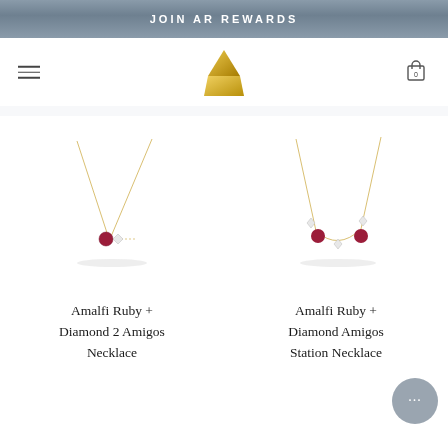JOIN AR REWARDS
[Figure (logo): Gold pyramid/triangle logo centered in navigation bar]
[Figure (photo): Amalfi Ruby + Diamond 2 Amigos Necklace product photo on white background - delicate gold chain necklace with ruby and diamond pendant]
[Figure (photo): Amalfi Ruby + Diamond Amigos Station Necklace product photo on white background - delicate gold chain necklace with multiple ruby and diamond stations]
Amalfi Ruby + Diamond 2 Amigos Necklace
Amalfi Ruby + Diamond Amigos Station Necklace